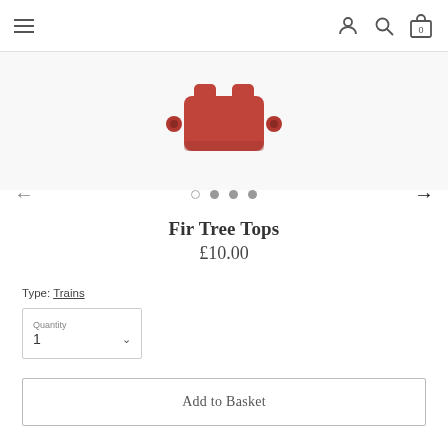[Figure (screenshot): E-commerce product page showing a red toy train piece (Fir Tree Tops) with navigation header, carousel dots, product title, price, type, quantity selector, and add to basket button.]
Type: Trains
Quantity
1
Add to Basket